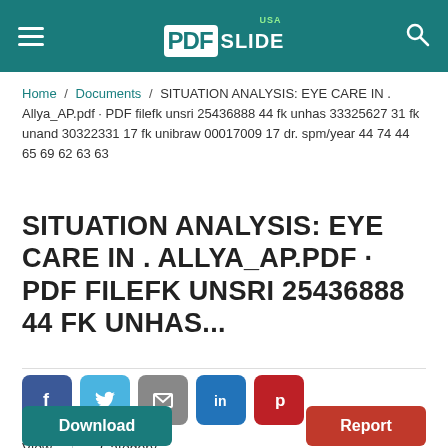PDFslide USA
Home / Documents / SITUATION ANALYSIS: EYE CARE IN . Allya_AP.pdf · PDF filefk unsri 25436888 44 fk unhas 33325627 31 fk unand 30322331 17 fk unibraw 00017009 17 dr. spm/year 44 74 44 65 69 62 63 63
SITUATION ANALYSIS: EYE CARE IN . ALLYA_AP.PDF · PDF FILEFK UNSRI 25436888 44 FK UNHAS...
[Figure (infographic): Social sharing buttons: Facebook (blue), Twitter (light blue), Email (gray), LinkedIn (dark blue), Pinterest (red)]
View
219
Category
Documents
Download
Report